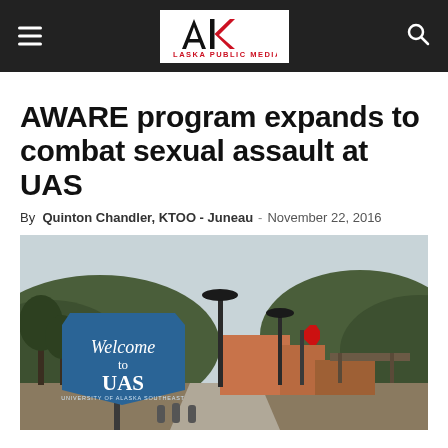[Figure (logo): Alaska Public Media logo — stylized AK letters in black and red, with text ALASKA PUBLIC MEDIA below]
AWARE program expands to combat sexual assault at UAS
By Quinton Chandler, KTOO - Juneau  -  November 22, 2016
[Figure (photo): University of Alaska Southeast campus entrance with a blue Welcome to UAS sign in the foreground and university buildings and wooded hills in the background]